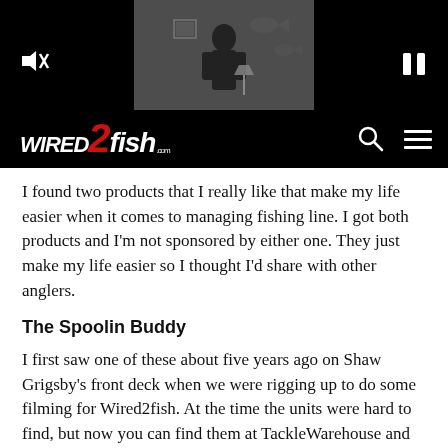[Figure (screenshot): Wired2fish website header with black background, a video thumbnail in the center top showing a person near fishing-themed wall, mute icon on left, pause icon on right, Wired2fish logo on bottom left with red '2', search icon and hamburger menu on the bottom right]
I found two products that I really like that make my life easier when it comes to managing fishing line. I got both products and I'm not sponsored by either one. They just make my life easier so I thought I'd share with other anglers.
The Spoolin Buddy
I first saw one of these about five years ago on Shaw Grigsby's front deck when we were rigging up to do some filming for Wired2fish. At the time the units were hard to find, but now you can find them at TackleWarehouse and